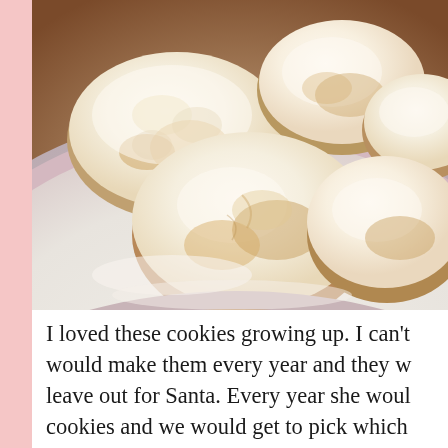[Figure (photo): Close-up photograph of round, powdered sugar-dusted cookies (likely Russian tea cakes or snowball cookies) piled on a white plate with a pink/lavender rim, set on a dark wooden surface.]
I loved these cookies growing up. I can't would make them every year and they w leave out for Santa. Every year she woul cookies and we would get to pick which